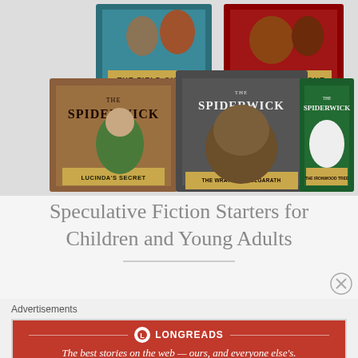[Figure (photo): Photo of five Spiderwick Chronicles book covers arranged in a fan/stack: The Field Guide, The Seeing Stone, Lucinda's Secret, The Wrath of Mulgarath, and The Ironwood Tree.]
Speculative Fiction Starters for Children and Young Adults
Advertisements
[Figure (logo): Longreads advertisement banner with red background. Logo: circle L icon followed by 'LONGREADS'. Tagline: 'The best stories on the web — ours, and everyone else's.']